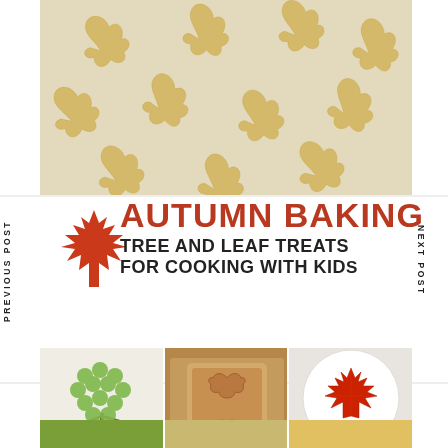[Figure (photo): Leaf-shaped cookie dough cutouts on parchment paper, aerial view, pale yellow dough]
[Figure (illustration): Red maple leaf icon]
Autumn Baking Tree and Leaf Treats for Cooking with Kids
PREVIOUS POST
NEXT POST
[Figure (photo): Green grape and pretzel stick tree art on white background]
[Figure (photo): Bread slice with leaf cutout on wooden cutting board]
[Figure (photo): Strawberry maple leaf shape on white plate]
[Figure (photo): Bottom row small food photos, partially visible]